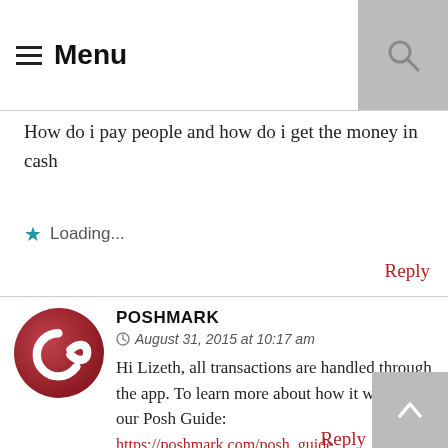Menu
How do i pay people and how do i get the money in cash
Loading...
Reply
POSHMARK
August 31, 2015 at 10:17 am
Hi Lizeth, all transactions are handled through the app. To learn more about how it works, see our Posh Guide:
https://poshmark.com/posh_guide
Loading...
Reply